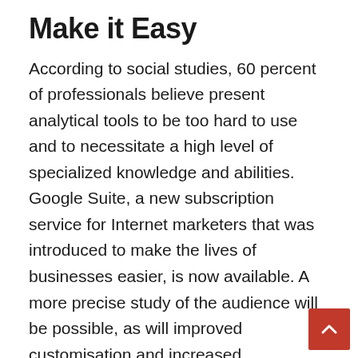Make it Easy
According to social studies, 60 percent of professionals believe present analytical tools to be too hard to use and to necessitate a high level of specialized knowledge and abilities. Google Suite, a new subscription service for Internet marketers that was introduced to make the lives of businesses easier, is now available. A more precise study of the audience will be possible, as will improved customisation and increased productivity.
Taking a Close Look
Data collection and online user behavior analysis are now made easier with the